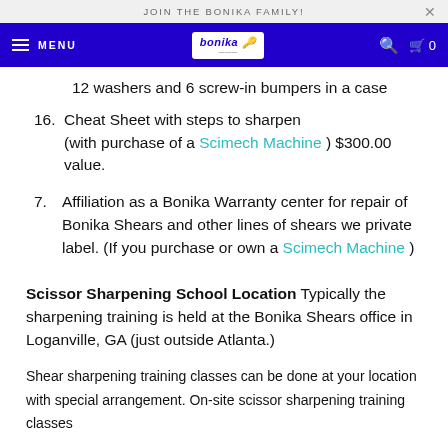JOIN THE BONIKA FAMILY!
12 washers and 6 screw-in bumpers in a case
16. Cheat Sheet with steps to sharpen (with purchase of a Scimech Machine ) $300.00 value.
7. Affiliation as a Bonika Warranty center for repair of Bonika Shears and other lines of shears we private label. (If you purchase or own a Scimech Machine )
Scissor Sharpening School Location
Typically the sharpening training is held at the Bonika Shears office in Loganville, GA (just outside Atlanta.)
Shear sharpening training classes can be done at your location with special arrangement. On-site scissor sharpening training classes